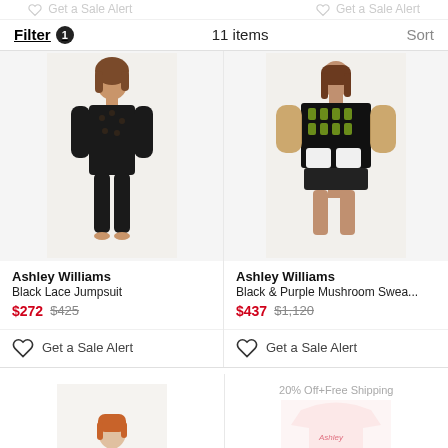Get a Sale Alert   Get a Sale Alert
Filter 1   11 items   Sort
[Figure (photo): Female model wearing black lace full-body jumpsuit]
Ashley Williams
Black Lace Jumpsuit
$272 $425
Get a Sale Alert
[Figure (photo): Female model wearing black and purple mushroom-pattern sweater with white dogs at hem]
Ashley Williams
Black & Purple Mushroom Swea...
$437 $1,120
Get a Sale Alert
[Figure (photo): Female model with long red hair, partially visible at bottom of page]
20% Off+Free Shipping
[Figure (photo): White t-shirt with pink print, partially visible at bottom of page]